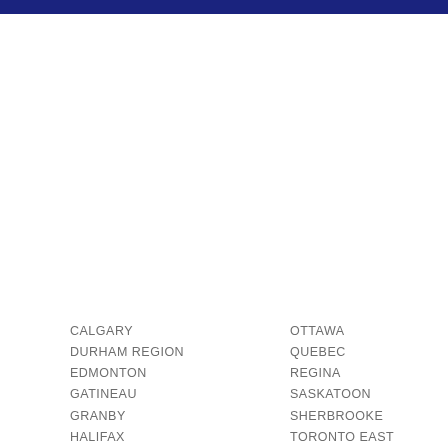CALGARY
DURHAM REGION
EDMONTON
GATINEAU
GRANBY
HALIFAX
OTTAWA
QUEBEC
REGINA
SASKATOON
SHERBROOKE
TORONTO EAST